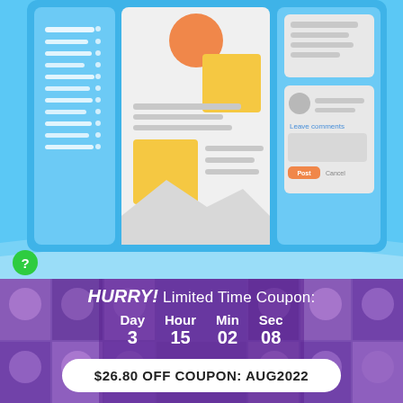[Figure (illustration): Screenshot-style illustration of a content management or blogging platform UI on a blue background. Shows a sidebar with a list, a main content area with article/image placeholders (orange circle, yellow rectangles, text lines), and a comment section on the right with 'Leave comments', Post and Cancel buttons.]
[Figure (photo): Background collage of people's faces arranged in a grid with a purple overlay, used as background for the coupon countdown section.]
HURRY! Limited Time Coupon:
Day 3   Hour 15   Min 02   Sec 08
$26.80 OFF COUPON: AUG2022